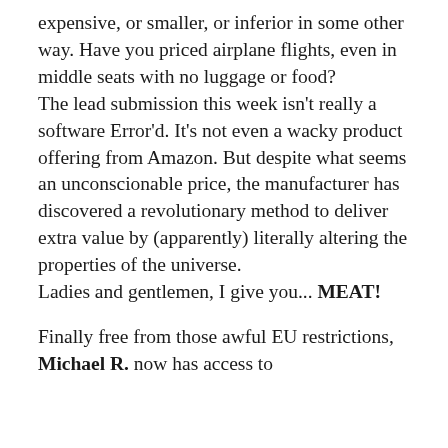expensive, or smaller, or inferior in some other way. Have you priced airplane flights, even in middle seats with no luggage or food?
The lead submission this week isn't really a software Error'd. It's not even a wacky product offering from Amazon. But despite what seems an unconscionable price, the manufacturer has discovered a revolutionary method to deliver extra value by (apparently) literally altering the properties of the universe.
Ladies and gentlemen, I give you... MEAT!
Finally free from those awful EU restrictions, Michael R. now has access to